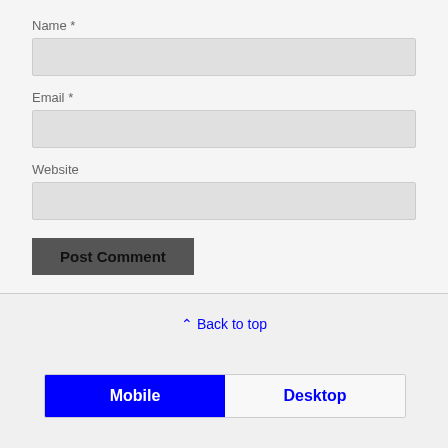Name *
[Figure (screenshot): Empty text input field for Name]
Email *
[Figure (screenshot): Empty text input field for Email]
Website
[Figure (screenshot): Empty text input field for Website]
[Figure (screenshot): Post Comment button, dark gray background]
Back to top
[Figure (infographic): Mobile/Desktop toggle bar with Mobile selected in blue and Desktop in white]
[Figure (infographic): Three social media icons: Twitter, Facebook, Email, in blue circles]